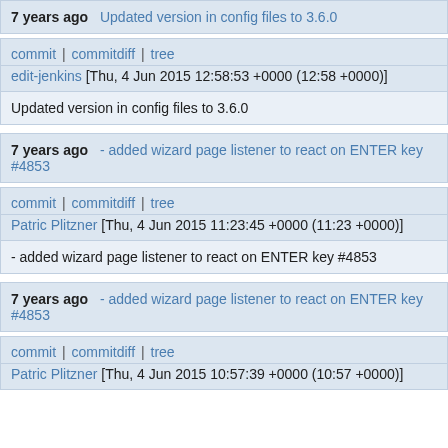7 years ago   Updated version in config files to 3.6.0
commit | commitdiff | tree
edit-jenkins [Thu, 4 Jun 2015 12:58:53 +0000 (12:58 +0000)]
Updated version in config files to 3.6.0
7 years ago   - added wizard page listener to react on ENTER key #4853
commit | commitdiff | tree
Patric Plitzner [Thu, 4 Jun 2015 11:23:45 +0000 (11:23 +0000)]
- added wizard page listener to react on ENTER key #4853
7 years ago   - added wizard page listener to react on ENTER key #4853
commit | commitdiff | tree
Patric Plitzner [Thu, 4 Jun 2015 10:57:39 +0000 (10:57 +0000)]